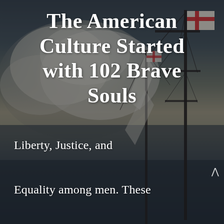[Figure (photo): Background photo of a tall sailing ship with masts and rigging against a dramatic cloudy sky at dusk, with a flag bearing a red cross visible at the top of the mast. Dark teal-grey and golden tones dominate the scene.]
The American Culture Started with 102 Brave Souls
Liberty, Justice, and Equality among men. These were the values sown into the soil of New England by the Mayflower passengers –